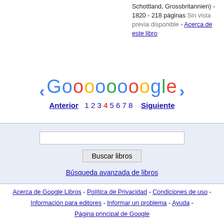Schottland, Grossbritannien) - 1820 - 218 páginas
Sin vista previa disponible - Acerca de este libro
[Figure (other): Google pagination bar with colored Goooooooooogle logo and arrow navigation]
Anterior  1  2  3  4  5  6  7  8  Siguiente
[Figure (other): Search box section with input field, Buscar libros button, and Búsqueda avanzada de libros link]
Acerca de Google Libros - Política de Privacidad - Condiciones de uso - Información para editores - Informar un problema - Ayuda - Página principal de Google